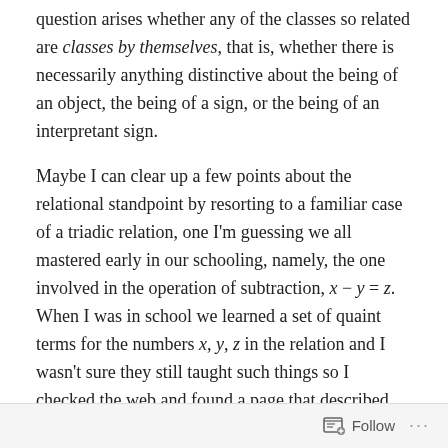question arises whether any of the classes so related are classes by themselves, that is, whether there is necessarily anything distinctive about the being of an object, the being of a sign, or the being of an interpretant sign.
Maybe I can clear up a few points about the relational standpoint by resorting to a familiar case of a triadic relation, one I'm guessing we all mastered early in our schooling, namely, the one involved in the operation of subtraction, x − y = z. When I was in school we learned a set of quaint terms for the numbers x, y, z in the relation and I wasn't sure they still taught such things so I checked the web and found a page that described the terms just as I remembered them:
Follow ···